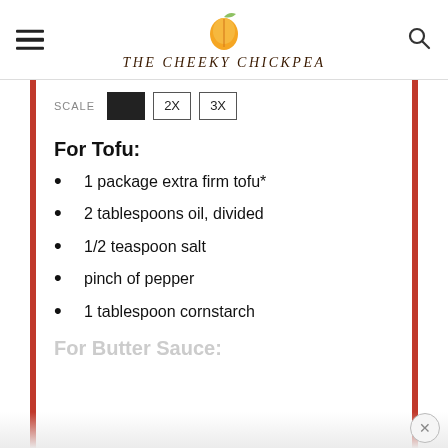THE CHEEKY CHICKPEA
SCALE 1X 2X 3X
For Tofu:
1 package extra firm tofu*
2 tablespoons oil, divided
1/2 teaspoon salt
pinch of pepper
1 tablespoon cornstarch
For Butter Sauce: